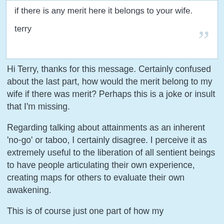if there is any merit here it belongs to your wife.

terry
Hi Terry, thanks for this message. Certainly confused about the last part, how would the merit belong to my wife if there was merit? Perhaps this is a joke or insult that I'm missing.
Regarding talking about attainments as an inherent 'no-go' or taboo, I certainly disagree. I perceive it as extremely useful to the liberation of all sentient beings to have people articulating their own experience, creating maps for others to evaluate their own awakening.
This is of course just one part of how my